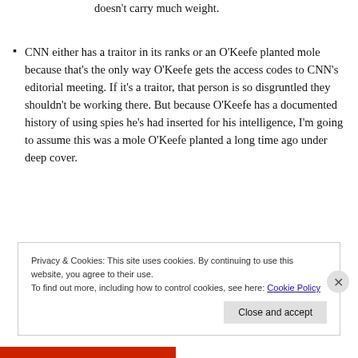doesn't carry much weight.
CNN either has a traitor in its ranks or an O'Keefe planted mole because that's the only way O'Keefe gets the access codes to CNN's editorial meeting. If it's a traitor, that person is so disgruntled they shouldn't be working there. But because O'Keefe has a documented history of using spies he's had inserted for his intelligence, I'm going to assume this was a mole O'Keefe planted a long time ago under deep cover.
Privacy & Cookies: This site uses cookies. By continuing to use this website, you agree to their use. To find out more, including how to control cookies, see here: Cookie Policy
Close and accept